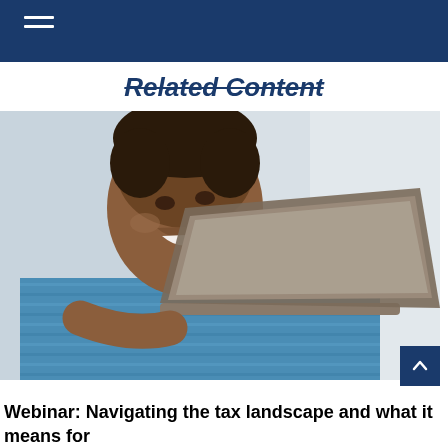Related Content
[Figure (photo): A smiling man in a blue striped shirt looking at an open laptop computer, photographed against a light gray background.]
Webinar: Navigating the tax landscape and what it means for